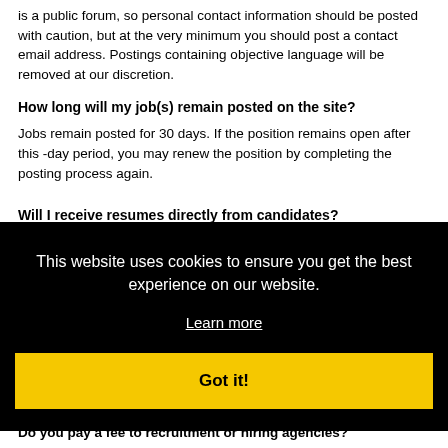is a public forum, so personal contact information should be posted with caution, but at the very minimum you should post a contact email address. Postings containing objective language will be removed at our discretion.
How long will my job(s) remain posted on the site?
Jobs remain posted for 30 days. If the position remains open after this -day period, you may renew the position by completing the posting process again.
Will I receive resumes directly from candidates?
[Figure (screenshot): Cookie consent overlay with black background. Text reads: 'This website uses cookies to ensure you get the best experience on our website.' with a 'Learn more' underlined link and a yellow 'Got it!' button.]
ase andividual ties.
u can You
Do you pay a fee to recruitment or hiring agencies?